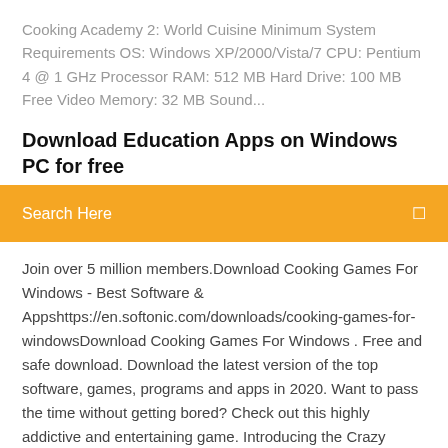Cooking Academy 2: World Cuisine Minimum System Requirements OS: Windows XP/2000/Vista/7 CPU: Pentium 4 @ 1 GHz Processor RAM: 512 MB Hard Drive: 100 MB Free Video Memory: 32 MB Sound...
Download Education Apps on Windows PC for free
[Figure (screenshot): Orange search bar with 'Search Here' placeholder text and a search icon on the right]
Join over 5 million members.Download Cooking Games For Windows - Best Software & Appshttps://en.softonic.com/downloads/cooking-games-for-windowsDownload Cooking Games For Windows . Free and safe download. Download the latest version of the top software, games, programs and apps in 2020. Want to pass the time without getting bored? Check out this highly addictive and entertaining game. Introducing the Crazy Candy Bomb - Sweet Match 3 Game download for desktop PC. Match sweet candies